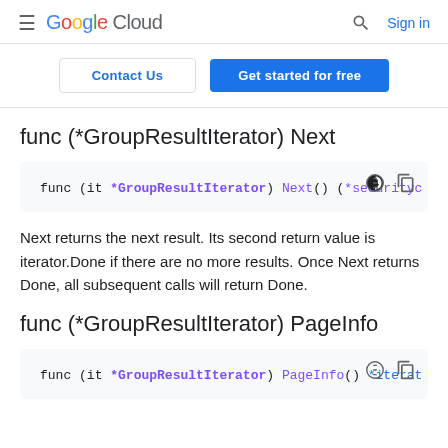Google Cloud  Sign in
Contact Us  Get started for free
func (*GroupResultIterator) Next
func (it *GroupResultIterator) Next() (*securityc
Next returns the next result. Its second return value is iterator.Done if there are no more results. Once Next returns Done, all subsequent calls will return Done.
func (*GroupResultIterator) PageInfo
func (it *GroupResultIterator) PageInfo() *iterat